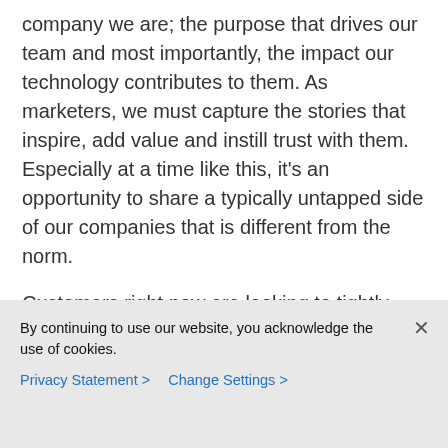company we are; the purpose that drives our team and most importantly, the impact our technology contributes to them. As marketers, we must capture the stories that inspire, add value and instill trust with them. Especially at a time like this, it's an opportunity to share a typically untapped side of our companies that is different from the norm.
Customers right now are looking to tightly align their business with brands who are doing the right thing. Brands who, of course, still need to sell but they're also doing their part to give back.
By continuing to use our website, you acknowledge the use of cookies.
Privacy Statement > Change Settings >